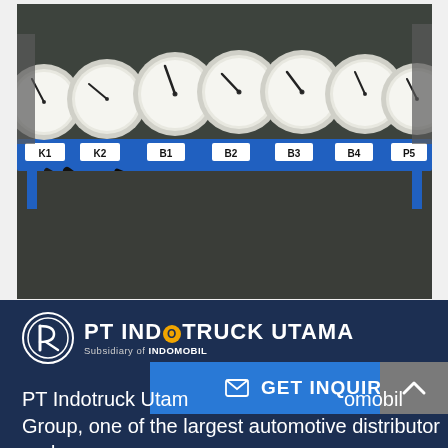[Figure (photo): Industrial pressure gauge panel mounted on a blue metal frame. Seven analog gauges are arranged in a row, each with black dials. Labels on the blue frame read from left to right: K1, K2, B1, B2, B3, B4, P5. Black hydraulic hoses are visible behind the panel, and the equipment is in an industrial workshop setting.]
[Figure (logo): PT Indotruck Utama logo with circular icon on the left and text 'PT INDOTRUCK UTAMA' with 'Subsidiary of INDOMOBIL' below it, displayed in white on a dark navy background.]
PT Indotruck Utama ... omobil Group, one of the largest automotive distributor and